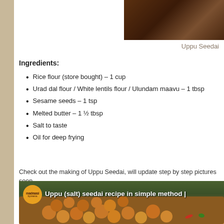[Figure (photo): Dark brown food photo at top right, partial view of a dish]
Uppu Seedai
Ingredients:
Rice flour (store bought) – 1 cup
Urad dal flour / White lentils flour / Ulundam maavu – 1 tbsp
Sesame seeds – 1 tsp
Melted butter – 1 ½ tbsp
Salt to taste
Oil for deep frying
Check out the making of Uppu Seedai, will update step by step pictures soon
[Figure (screenshot): Video thumbnail showing madraasi logo and Uppu (salt) seedai recipe in simple method, with golden fried seedai balls in a bowl]